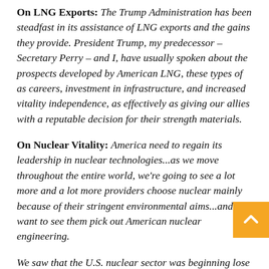On LNG Exports: The Trump Administration has been steadfast in its assistance of LNG exports and the gains they provide. President Trump, my predecessor – Secretary Perry – and I, have usually spoken about the prospects developed by American LNG, these types of as careers, investment in infrastructure, and increased vitality independence, as effectively as giving our allies with a reputable decision for their strength materials.
On Nuclear Vitality: America need to regain its leadership in nuclear technologies...as we move throughout the entire world, we're going to see a lot more and a lot more providers choose nuclear mainly because of their stringent environmental aims...and we want to see them pick out American nuclear engineering.
We saw that the U.S. nuclear sector was beginning lose its location as the world's leader as Russia and China are picking leading nuclear programs for the...